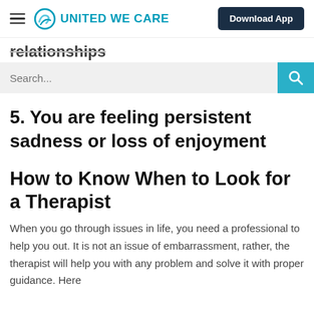UNITED WE CARE | Download App
relationships
5. You are feeling persistent sadness or loss of enjoyment
How to Know When to Look for a Therapist
When you go through issues in life, you need a professional to help you out. It is not an issue of embarrassment, rather, the therapist will help you with any problem and solve it with proper guidance. Here